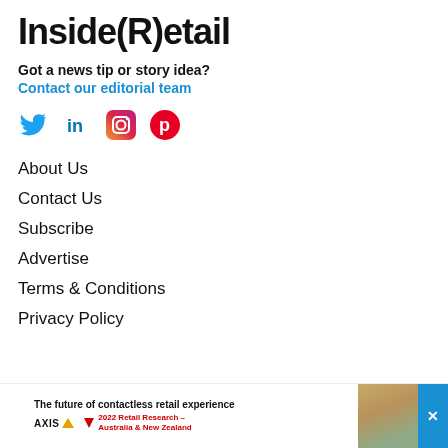Inside(R)etail
Got a news tip or story idea?
Contact our editorial team
[Figure (illustration): Social media icons row: Twitter (blue bird), LinkedIn (blue 'in'), Instagram (gradient camera), Pinterest (red 'P')]
About Us
Contact Us
Subscribe
Advertise
Terms & Conditions
Privacy Policy
[Figure (illustration): Advertisement banner: 'The future of contactless retail experience' with AXIS Communications logo and '2022 Retail Research – Australia & New Zealand' in red, with a retail worker photo on the right.]